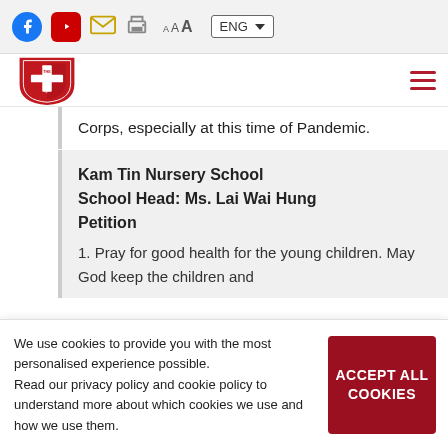Toolbar with Facebook, YouTube, email, print icons; font size controls (A A A); language selector (ENG)
[Figure (logo): Salvation Army logo shield with Chinese characters]
Corps, especially at this time of Pandemic.
Kam Tin Nursery School
School Head: Ms. Lai Wai Hung
Petition
1. Pray for good health for the young children. May God keep the children and
We use cookies to provide you with the most personalised experience possible.
Read our privacy policy and cookie policy to understand more about which cookies we use and how we use them.